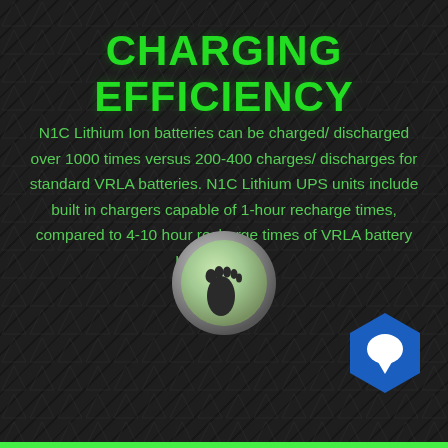CHARGING EFFICIENCY
N1C Lithium Ion batteries can be charged/ discharged over 1000 times versus 200-400 charges/ discharges for standard VRLA batteries. N1C Lithium UPS units include built in chargers capable of 1-hour recharge times, compared to 4-10 hour recharge times of VRLA battery UPS systems.
[Figure (illustration): Circular metallic button icon with a green footprint (foot) symbol in the center, on a dark background]
[Figure (illustration): Blue hexagon icon with a white chat bubble symbol inside, positioned bottom-right]